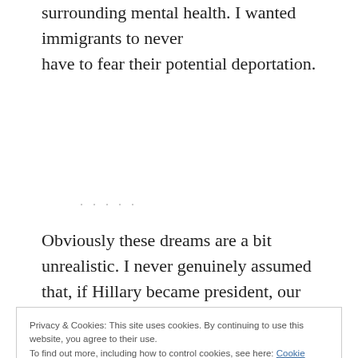surrounding mental health. I wanted immigrants to never have to fear their potential deportation.
Obviously these dreams are a bit unrealistic. I never genuinely assumed that, if Hillary became president, our entire country would just adopt
Privacy & Cookies: This site uses cookies. By continuing to use this website, you agree to their use.
To find out more, including how to control cookies, see here: Cookie Policy
forever over whether or not Obama was a good